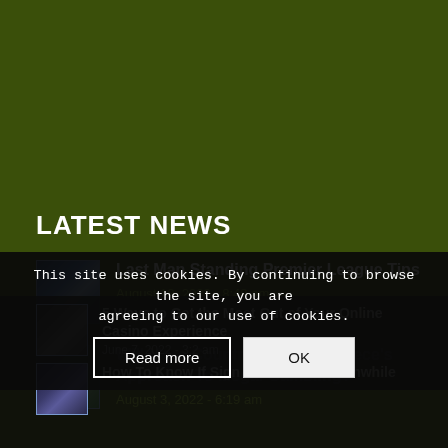LATEST NEWS
Last Man Standing Premier League Tips
August 18, 2022 - 8:48 am
Will More Countries Follow Greece’s Approach To Illegal Gambling?
August 3, 2022 - 6:19 am
5 Ways to Get the Most Out of Your Online Casino Experience
June 7, 2022 - 3:2 am
How To Know If Sign ... ffers Are Worthwhile
This site uses cookies. By continuing to browse the site, you are agreeing to our use of cookies.
Read more
OK